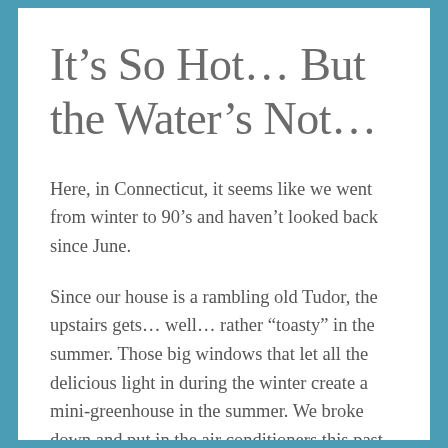It’s So Hot… But the Water’s Not…
Here, in Connecticut, it seems like we went from winter to 90’s and haven’t looked back since June.
Since our house is a rambling old Tudor, the upstairs gets… well… rather “toasty” in the summer. Those big windows that let all the delicious light in during the winter create a mini-greenhouse in the summer. We broke down and put in the air conditioners this past weekend.